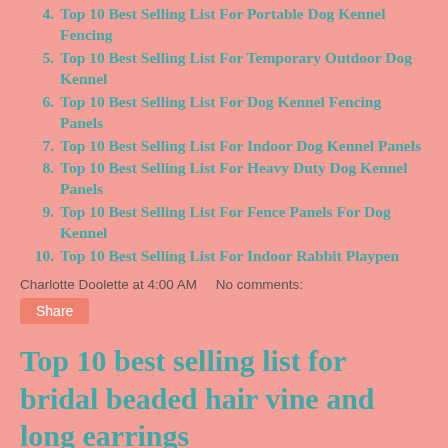4. Top 10 Best Selling List For Portable Dog Kennel Fencing
5. Top 10 Best Selling List For Temporary Outdoor Dog Kennel
6. Top 10 Best Selling List For Dog Kennel Fencing Panels
7. Top 10 Best Selling List For Indoor Dog Kennel Panels
8. Top 10 Best Selling List For Heavy Duty Dog Kennel Panels
9. Top 10 Best Selling List For Fence Panels For Dog Kennel
10. Top 10 Best Selling List For Indoor Rabbit Playpen
Charlotte Doolette at 4:00 AM   No comments:
Share
Top 10 best selling list for bridal beaded hair vine and long earrings